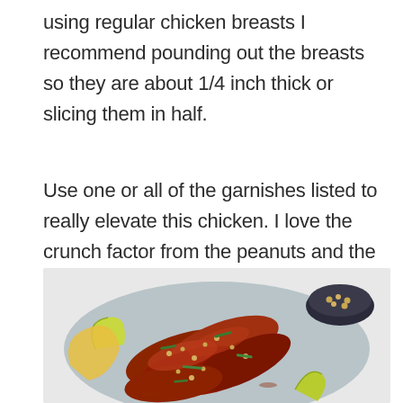using regular chicken breasts I recommend pounding out the breasts so they are about 1/4 inch thick or slicing them in half.
Use one or all of the garnishes listed to really elevate this chicken. I love the crunch factor from the peanuts and the freshness that the scallions bring!
[Figure (photo): Photo of glazed chicken pieces on a light blue/grey platter, garnished with chopped peanuts, scallions, lime wedges, and herbs, with a small bowl of garnish in the background.]